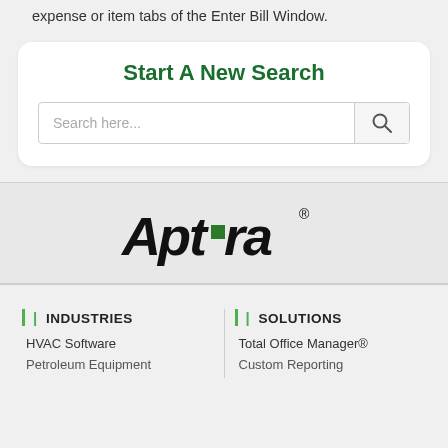expense or item tabs of the Enter Bill Window.
Start A New Search
[Figure (screenshot): Search input box with placeholder text 'Search here...' and a magnifying glass search button]
[Figure (logo): Aptora company logo in bold italic black text with a green square replacing the 'o' in 'Aptora' and a registered trademark symbol]
INDUSTRIES
SOLUTIONS
HVAC Software
Total Office Manager®
Petroleum Equipment
Custom Reporting